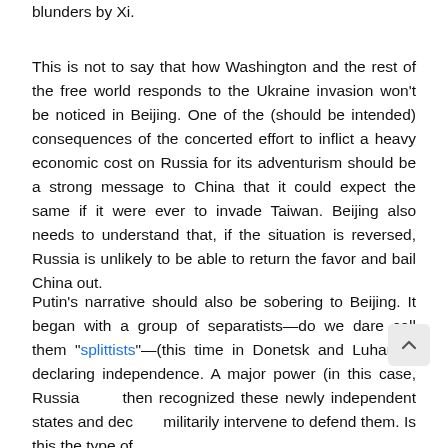blunders by Xi.
This is not to say that how Washington and the rest of the free world responds to the Ukraine invasion won't be noticed in Beijing. One of the (should be intended) consequences of the concerted effort to inflict a heavy economic cost on Russia for its adventurism should be a strong message to China that it could expect the same if it were ever to invade Taiwan. Beijing also needs to understand that, if the situation is reversed, Russia is unlikely to be able to return the favor and bail China out.
Putin's narrative should also be sobering to Beijing. It began with a group of separatists—do we dare call them "splittists"—(this time in Donetsk and Luhansk) declaring independence. A major power (in this case, Russia) then recognized these newly independent states and decided to militarily intervene to defend them. Is this the type of